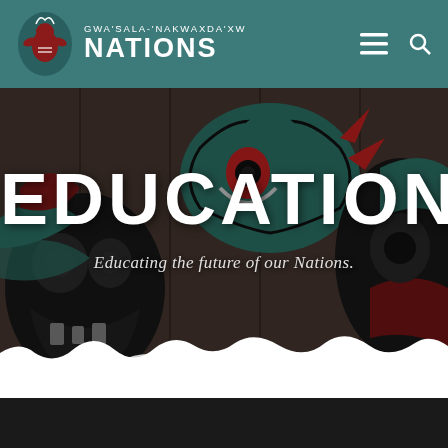GWA'SALA-'NAKWAXDA'XW NATIONS
[Figure (screenshot): Website hero section for Gwa'sala-'Nakwaxda'xw Nations Education page. Background shows Indigenous Northwest Coast art mural with stylized figures in black, white, red, and green. Large white bold text reads EDUCATION with subtitle Educating the future of our Nations.]
EDUCATION
Educating the future of our Nations.